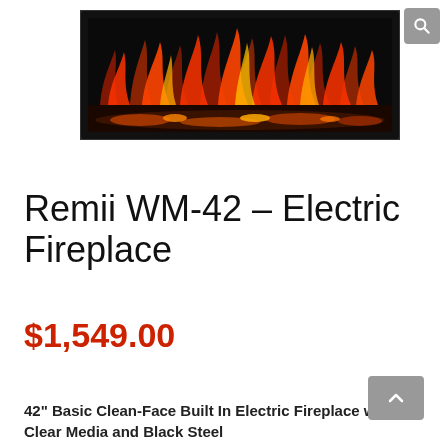[Figure (photo): Electric fireplace unit with black frame showing orange and red flames with glowing embers at the base, wide horizontal format]
Remii WM-42 – Electric Fireplace
$1,549.00
42” Basic Clean-Face Built In Electric Fireplace with Clear Media and Black Steel